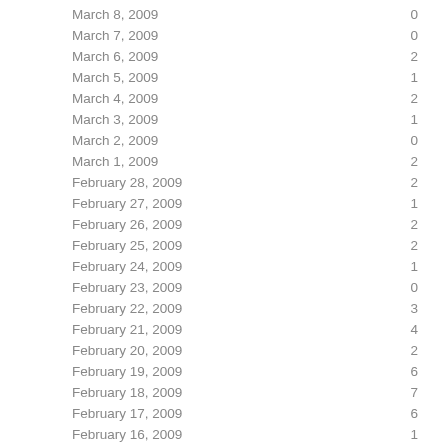| Date | Value |
| --- | --- |
| March 8, 2009 | 0 |
| March 7, 2009 | 0 |
| March 6, 2009 | 2 |
| March 5, 2009 | 1 |
| March 4, 2009 | 2 |
| March 3, 2009 | 1 |
| March 2, 2009 | 0 |
| March 1, 2009 | 2 |
| February 28, 2009 | 2 |
| February 27, 2009 | 1 |
| February 26, 2009 | 2 |
| February 25, 2009 | 2 |
| February 24, 2009 | 1 |
| February 23, 2009 | 0 |
| February 22, 2009 | 3 |
| February 21, 2009 | 4 |
| February 20, 2009 | 2 |
| February 19, 2009 | 6 |
| February 18, 2009 | 7 |
| February 17, 2009 | 6 |
| February 16, 2009 | 1 |
| February 15, 2009 | 1 |
| February 14, 2009 | 3 |